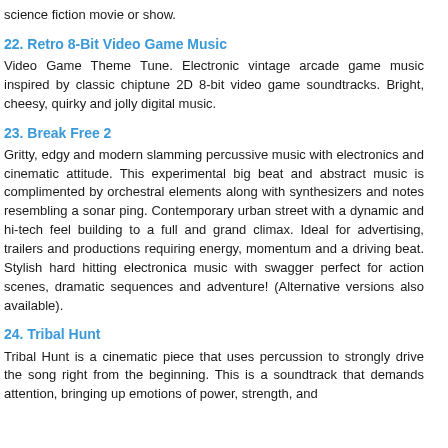science fiction movie or show.
22. Retro 8-Bit Video Game Music
Video Game Theme Tune. Electronic vintage arcade game music inspired by classic chiptune 2D 8-bit video game soundtracks. Bright, cheesy, quirky and jolly digital music.
23. Break Free 2
Gritty, edgy and modern slamming percussive music with electronics and cinematic attitude. This experimental big beat and abstract music is complimented by orchestral elements along with synthesizers and notes resembling a sonar ping. Contemporary urban street with a dynamic and hi-tech feel building to a full and grand climax. Ideal for advertising, trailers and productions requiring energy, momentum and a driving beat. Stylish hard hitting electronica music with swagger perfect for action scenes, dramatic sequences and adventure! (Alternative versions also available).
24. Tribal Hunt
Tribal Hunt is a cinematic piece that uses percussion to strongly drive the song right from the beginning. This is a soundtrack that demands attention, bringing up emotions of power, strength, and